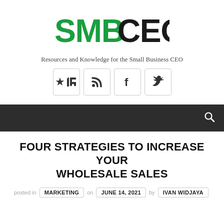[Figure (logo): SMB CEO logo — 'SMB' in green stylized letters and 'CEO' in black bold letters]
Resources and Knowledge for the Small Business CEO
[Figure (infographic): Three social media icon buttons in rounded boxes: RSS feed, Facebook (f), and Twitter (bird icon)]
Navigation bar (dark background) with search icon
FOUR STRATEGIES TO INCREASE YOUR WHOLESALE SALES
posted in MARKETING on JUNE 14, 2021 by IVAN WIDJAYA